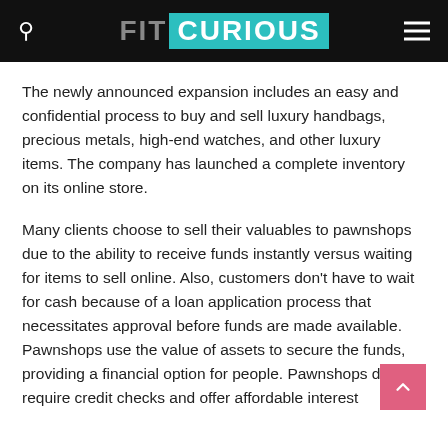FIT CURIOUS
The newly announced expansion includes an easy and confidential process to buy and sell luxury handbags, precious metals, high-end watches, and other luxury items. The company has launched a complete inventory on its online store.
Many clients choose to sell their valuables to pawnshops due to the ability to receive funds instantly versus waiting for items to sell online. Also, customers don't have to wait for cash because of a loan application process that necessitates approval before funds are made available. Pawnshops use the value of assets to secure the funds, providing a financial option for people. Pawnshops do not require credit checks and offer affordable interest